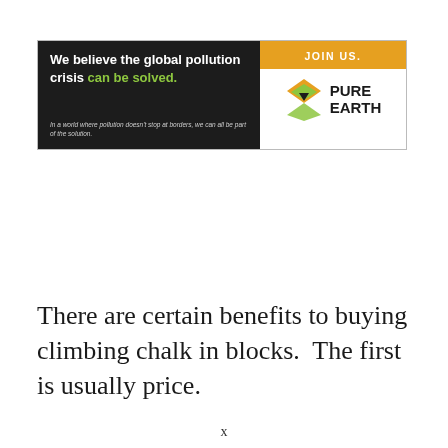[Figure (other): Pure Earth advertisement banner. Left side dark background with white bold text: 'We believe the global pollution crisis can be solved.' with 'can be solved.' in green. Italic subtext: 'In a world where pollution doesn't stop at borders, we can all be part of the solution.' Right side has orange 'JOIN US.' bar at top, and Pure Earth logo (diamond shape with downward arrow) with 'PURE EARTH' text.]
There are certain benefits to buying climbing chalk in blocks.  The first is usually price.